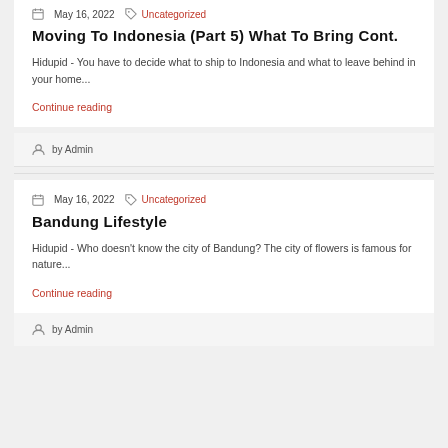May 16, 2022  Uncategorized
Moving To Indonesia (Part 5) What To Bring Cont.
Hidupid - You have to decide what to ship to Indonesia and what to leave behind in your home...
Continue reading
by Admin
May 16, 2022  Uncategorized
Bandung Lifestyle
Hidupid - Who doesn't know the city of Bandung? The city of flowers is famous for nature...
Continue reading
by Admin